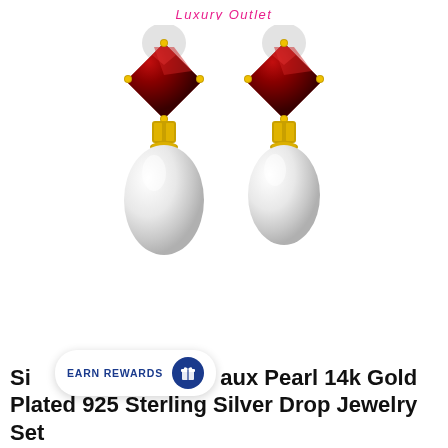Luxury Outlet
[Figure (photo): Product photo of a pair of drop earrings featuring deep red/garnet princess-cut gemstones set in 14k gold prong settings, with gold connector pieces, and white faux pearl drops hanging below. Two earrings displayed side by side on white background.]
EARN REWARDS
Si aux Pearl 14k Gold Plated 925 Sterling Silver Drop Jewelry Set